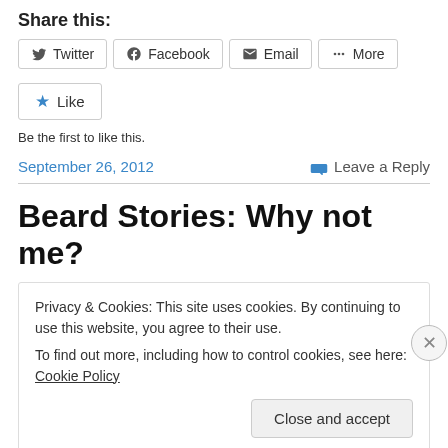Share this:
Twitter  Facebook  Email  More
Like
Be the first to like this.
September 26, 2012   Leave a Reply
Beard Stories: Why not me?
Privacy & Cookies: This site uses cookies. By continuing to use this website, you agree to their use.
To find out more, including how to control cookies, see here: Cookie Policy
Close and accept